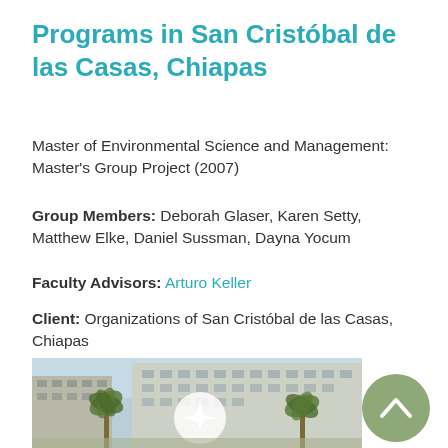Programs in San Cristóbal de las Casas, Chiapas
Master of Environmental Science and Management: Master's Group Project (2007)
Group Members: Deborah Glaser, Karen Setty, Matthew Elke, Daniel Sussman, Dayna Yocum
Faculty Advisors: Arturo Keller
Client: Organizations of San Cristóbal de las Casas, Chiapas
[Figure (photo): Photo of a university campus building with palm trees and a white sculpture in the foreground. A green circular scroll-to-top button appears to the right.]